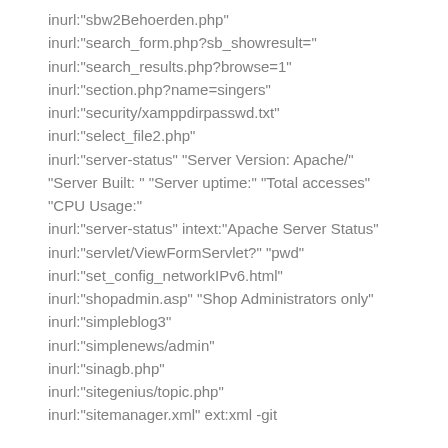inurl:"sbw2Behoerden.php"
inurl:"search_form.php?sb_showresult="
inurl:"search_results.php?browse=1"
inurl:"section.php?name=singers"
inurl:"security/xamppdirpasswd.txt"
inurl:"select_file2.php"
inurl:"server-status" "Server Version: Apache/" "Server Built: " "Server uptime:" "Total accesses" "CPU Usage:"
inurl:"server-status" intext:"Apache Server Status"
inurl:"servlet/ViewFormServlet?" "pwd"
inurl:"set_config_networkIPv6.html"
inurl:"shopadmin.asp" "Shop Administrators only"
inurl:"simpleblog3"
inurl:"simplenews/admin"
inurl:"sinagb.php"
inurl:"sitegenius/topic.php"
inurl:"sitemanager.xml" ext:xml -git